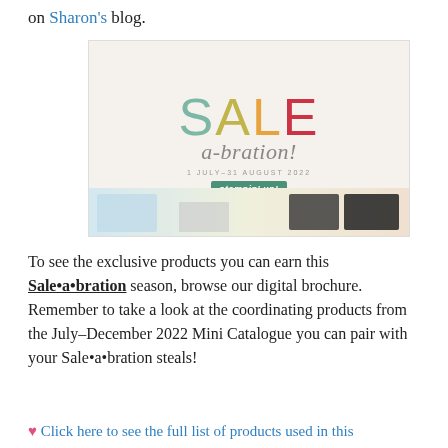on Sharon's blog.
[Figure (illustration): Sale-a-bration promotional image with colorful SALE text and crafting products, dated 1 July–31 August 2022, featuring Stampin' Up! logo badge]
To see the exclusive products you can earn this Sale•a•bration season, browse our digital brochure. Remember to take a look at the coordinating products from the July–December 2022 Mini Catalogue you can pair with your Sale•a•bration steals!
♥ Click here to see the full list of products used in this